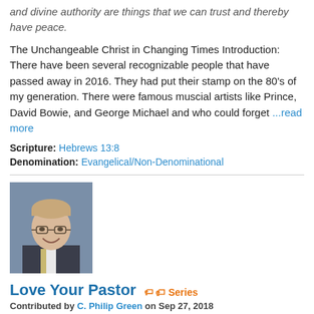and divine authority are things that we can trust and thereby have peace.
The Unchangeable Christ in Changing Times Introduction: There have been several recognizable people that have passed away in 2016. They had put their stamp on the 80's of my generation. There were famous muscial artists like Prince, David Bowie, and George Michael and who could forget ...read more
Scripture: Hebrews 13:8
Denomination: Evangelical/Non-Denominational
[Figure (photo): Portrait photo of a middle-aged man with glasses and light hair, wearing a suit, smiling]
Love Your Pastor
Series
Contributed by C. Philip Green on Sep 27, 2018
★★★★★ based on 1 rating | 19,137 views
If you really want to love and honor your leaders, remember them by the way you live your life; follow them; and pray for them